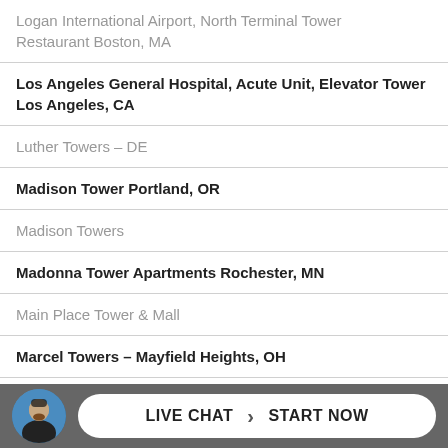| Logan International Airport, North Terminal Tower Restaurant Boston, MA |
| Los Angeles General Hospital, Acute Unit, Elevator Tower Los Angeles, CA |
| Luther Towers – DE |
| Madison Tower Portland, OR |
| Madison Towers |
| Madonna Tower Apartments Rochester, MN |
| Main Place Tower & Mall |
| Marcel Towers – Mayfield Heights, OH |
| Marina City Towers Chicago, IL |
[Figure (other): Live chat widget bar with avatar photo of bearded man and 'LIVE CHAT › START NOW' button]